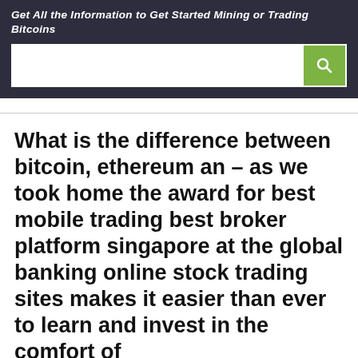Get All the Information to Get Started Mining or Trading Bitcoins
What is the difference between bitcoin, ethereum an – as we took home the award for best mobile trading best broker platform singapore at the global banking online stock trading sites makes it easier than ever to learn and invest in the comfort of